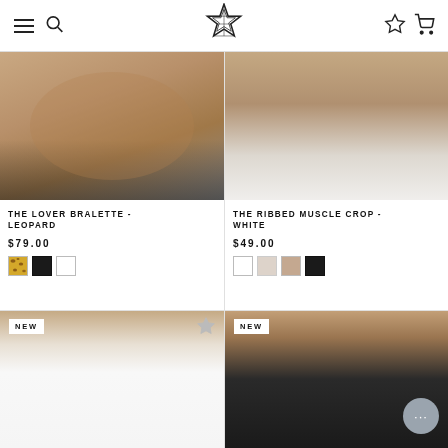Navigation header with hamburger menu, search icon, logo, wishlist and cart icons
[Figure (photo): Close-up of woman's torso wearing black bralette, hands crossed over stomach, leopard print bralette product photo]
THE LOVER BRALETTE - LEOPARD
$79.00
[Figure (photo): Color swatches: leopard print, black, white]
[Figure (photo): Close-up of woman's midsection wearing white ribbed muscle crop and white shorts]
THE RIBBED MUSCLE CROP - WHITE
$49.00
[Figure (photo): Color swatches: white, light nude, nude, black]
[Figure (photo): NEW badge product photo - woman wearing white fitted short sleeve top, NEW label, wishlist star icon]
[Figure (photo): NEW badge product photo - woman wearing black tank/bralette top, NEW label, chat button overlay]